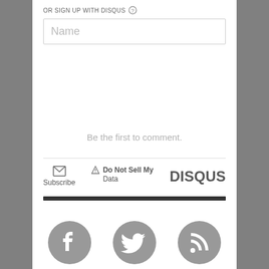OR SIGN UP WITH DISQUS ?
Name
Be the first to comment.
Subscribe
Do Not Sell My Data
DISQUS
[Figure (illustration): Three social media icons in gray circles: Facebook, Twitter, and RSS feed]
[Figure (illustration): Dark thick horizontal bar divider]